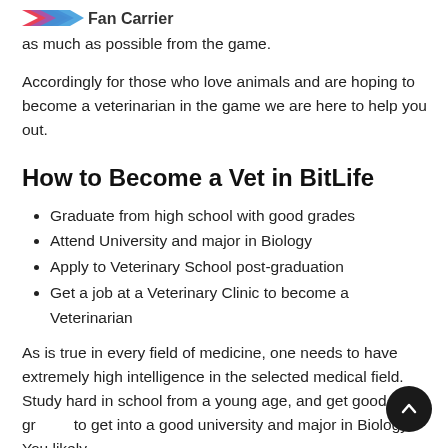[Figure (logo): Fan carrier logo with colorful chevron/arrow graphic and text]
as much as possible from the game.
Accordingly for those who love animals and are hoping to become a veterinarian in the game we are here to help you out.
How to Become a Vet in BitLife
Graduate from high school with good grades
Attend University and major in Biology
Apply to Veterinary School post-graduation
Get a job at a Veterinary Clinic to become a Veterinarian
As is true in every field of medicine, one needs to have extremely high intelligence in the selected medical field. Study hard in school from a young age, and get good grades to get into a good university and major in Biology. You likely